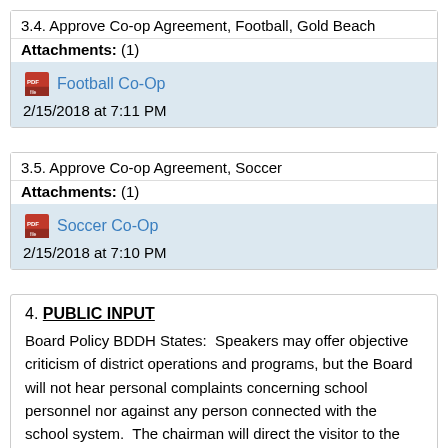3.4. Approve Co-op Agreement, Football, Gold Beach
Attachments: (1)
Football Co-Op
2/15/2018 at 7:11 PM
3.5. Approve Co-op Agreement, Soccer
Attachments: (1)
Soccer Co-Op
2/15/2018 at 7:10 PM
4. PUBLIC INPUT
Board Policy BDDH States:  Speakers may offer objective criticism of district operations and programs, but the Board will not hear personal complaints concerning school personnel nor against any person connected with the school system.  The chairman will direct the visitor to the appropriate means for Board...